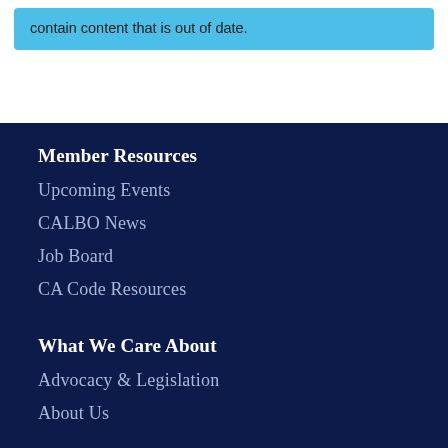contain content that is out of date.
Member Resources
Upcoming Events
CALBO News
Job Board
CA Code Resources
What We Care About
Advocacy & Legislation
About Us